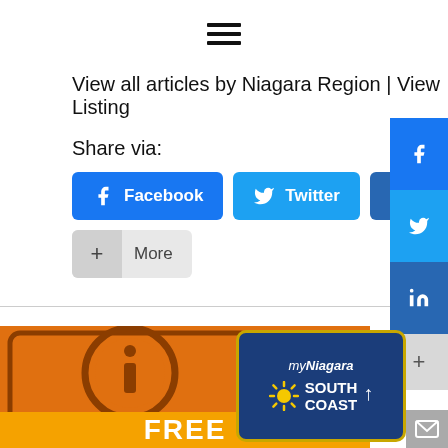[Figure (other): Hamburger menu icon with three horizontal lines]
View all articles by Niagara Region | View Listing
Share via:
[Figure (other): Social share buttons: Facebook, Twitter, LinkedIn, and More (+)]
[Figure (other): Vertical side bar with Facebook, Twitter, LinkedIn icons and More (+) button]
You also might be interested in
[Figure (other): Bottom area showing orange info graphic logo, myNiagara South Coast badge, and FREE text banner]